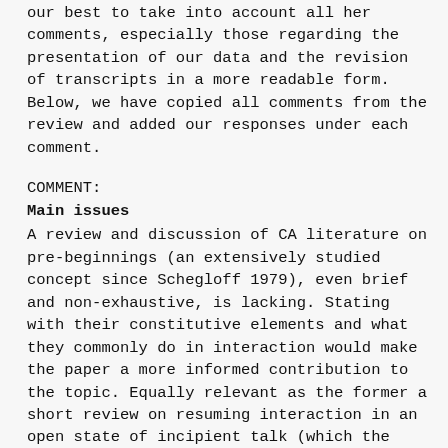our best to take into account all her comments, especially those regarding the presentation of our data and the revision of transcripts in a more readable form. Below, we have copied all comments from the review and added our responses under each comment.
COMMENT:
Main issues
A review and discussion of CA literature on pre-beginnings (an extensively studied concept since Schegloff 1979), even brief and non-exhaustive, is lacking. Stating with their constitutive elements and what they commonly do in interaction would make the paper a more informed contribution to the topic. Equally relevant as the former a short review on resuming interaction in an open state of incipient talk (which the manuscript doesn't mention at all at this stage) seems in point (Goffman, 1963;